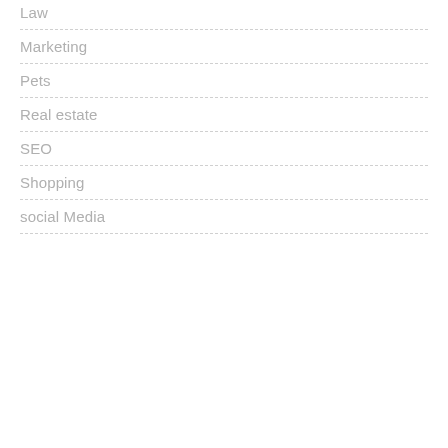Law
Marketing
Pets
Real estate
SEO
Shopping
social Media